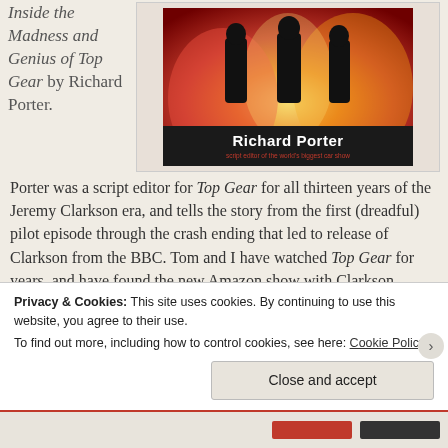Inside the Madness and Genius of Top Gear by Richard Porter.
[Figure (photo): Book cover showing silhouettes of three people in front of flames/fire with the author name 'Richard Porter' on a dark banner at the bottom.]
Porter was a script editor for Top Gear for all thirteen years of the Jeremy Clarkson era, and tells the story from the first (dreadful) pilot episode through the crash ending that led to release of Clarkson from the BBC. Tom and I have watched Top Gear for years, and have found the new Amazon show with Clarkson, Richard Hammond, and James May (The Grand Tour) to also be quite entertaining and even, at times, informative. I've read several articles and whatnot by Porter, and he is
Privacy & Cookies: This site uses cookies. By continuing to use this website, you agree to their use.
To find out more, including how to control cookies, see here: Cookie Policy
Close and accept